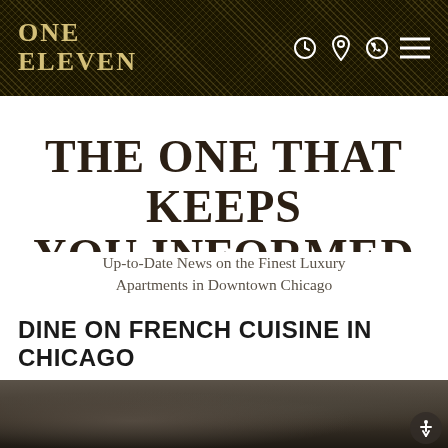ONE ELEVEN
THE ONE THAT KEEPS YOU INFORMED
Up-to-Date News on the Finest Luxury Apartments in Downtown Chicago
DINE ON FRENCH CUISINE IN CHICAGO
[Figure (photo): Bottom portion showing a blurred food/restaurant photo]